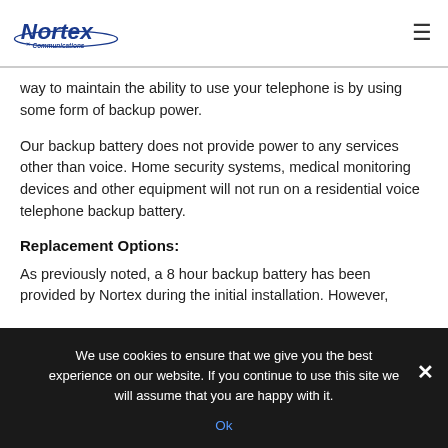Nortex Communications [logo] [menu icon]
way to maintain the ability to use your telephone is by using some form of backup power.
Our backup battery does not provide power to any services other than voice. Home security systems, medical monitoring devices and other equipment will not run on a residential voice telephone backup battery.
Replacement Options:
As previously noted, a 8 hour backup battery has been provided by Nortex during the initial installation. However,
We use cookies to ensure that we give you the best experience on our website. If you continue to use this site we will assume that you are happy with it.
Ok